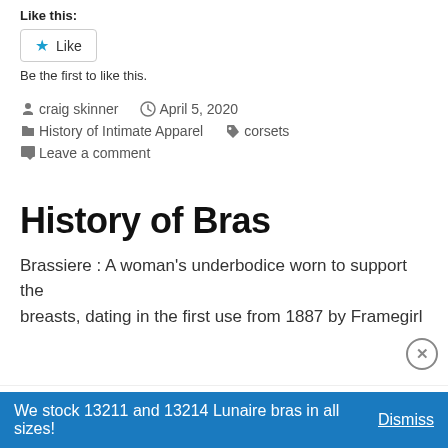Like this:
Like
Be the first to like this.
craig skinner   April 5, 2020   History of Intimate Apparel   corsets   Leave a comment
History of Bras
Brassiere : A woman's underbodice worn to support the breasts, dating in the first use from 1907 by Framegirl
Advertisements
We stock 13211 and 13214 Lunaire bras in all sizes! Dismiss